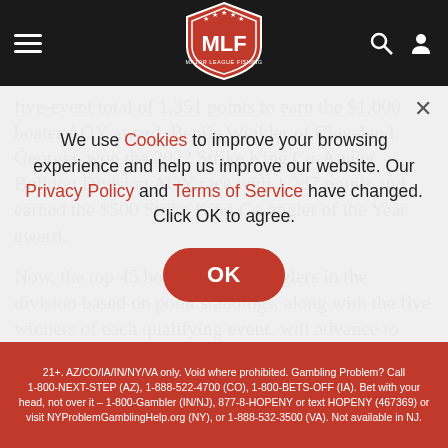MLF navigation bar with hamburger menu, MLF logo, search and user icons
five-event total of 1,351 points to earn the $1,000 boater AOY award. Benjie Winkler of Cleveland, Georgia, won the 2022 Strike King Co-Angler Bulldog Division AOY race with 1,287 points and earned the $500 Strike King Co-angler of the Year award.
Now, the top 45 boaters and co-anglers in the division based on point standings, along with the five winners of each qualifying event, will advance to compete in the Oct. 6-8 Phoenix Bass Fishing League Regional Championship on Lake
We use Cookies to improve your browsing experience and help us improve our website. Our Privacy Policy and Terms of Service have changed. Click OK to agree.
21+. AZ/CO/IA/IN/NY/VA only. Void where prohibited. Gambling Problem? Call 1-800-NEXT-STEP (AZ), 1-888-522-4700 (CO), 1-800-BETS-OFF (IA). Bet with your head, not over it – 1-800-Gambler (IN/NJ), 877-8-HOPENY or text HOPENY (467369) or visit NYProblemGamblingHelp.org (NY), or 1-888-532-3500 (VA). Not available in NJ.